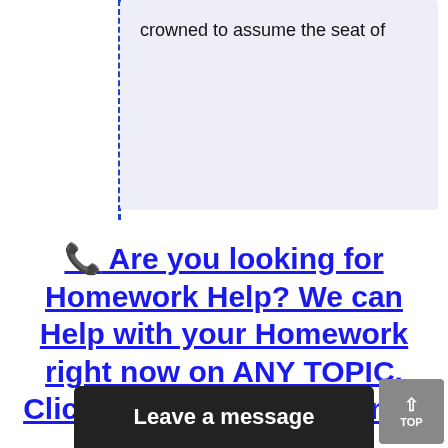crowned to assume the seat of
📞 Are you looking for Homework Help? We can Help with your Homework right now on ANY TOPIC. Click on the Order Button to Get Started
Leave a message